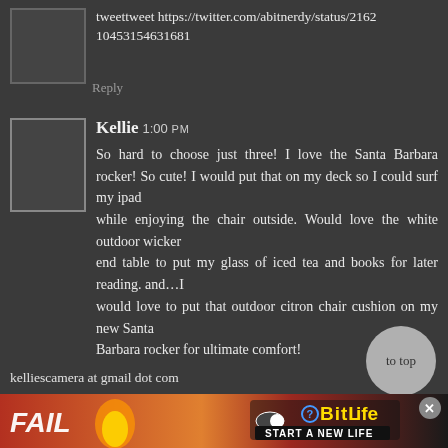tweettweet https://twitter.com/abitnerdy/status/21621045315463l681
Reply
Kellie 1:00 PM
So hard to choose just three! I love the Santa Barbara rocker! So cute! I would put that on my deck so I could surf my ipad while enjoying the chair outside. Would love the white outdoor wicker end table to put my glass of iced tea and books for later reading. and…I would love to put that outdoor citron chair cushion on my new Santa Barbara rocker for ultimate comfort!
kelliescamera at gmail dot com
[Figure (screenshot): Advertisement banner for BitLife game showing 'FAIL' text and 'START A NEW LIFE' tagline]
to top